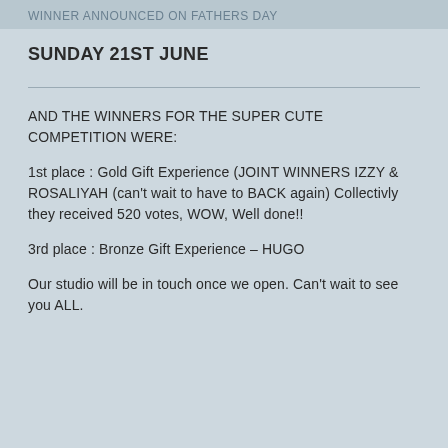WINNER ANNOUNCED ON FATHERS DAY
SUNDAY 21ST JUNE
AND THE WINNERS FOR THE SUPER CUTE COMPETITION WERE:
1st place : Gold Gift Experience (JOINT WINNERS IZZY & ROSALIYAH (can't wait to have to BACK again) Collectivly they received 520 votes, WOW, Well done!!
3rd place : Bronze Gift Experience – HUGO
Our studio will be in touch once we open. Can't wait to see you ALL.